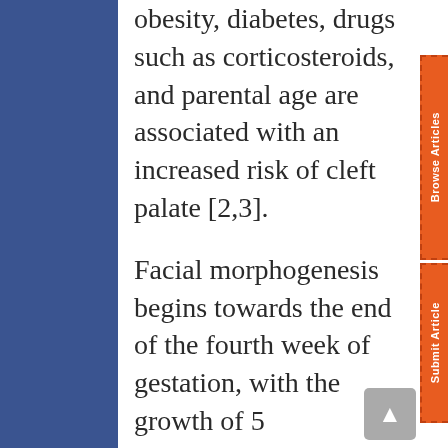obesity, diabetes, drugs such as corticosteroids, and parental age are associated with an increased risk of cleft palate [2,3].
Facial morphogenesis begins towards the end of the fourth week of gestation, with the growth of 5 prominences or